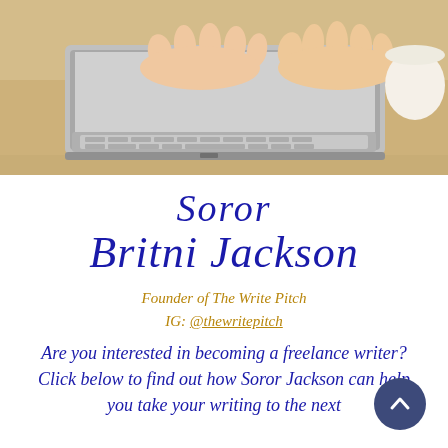[Figure (photo): Person typing on a laptop on a light wooden desk, with a white cup/mug partially visible on the right side. Only hands and the laptop are visible.]
Soror Britni Jackson
Founder of The Write Pitch
IG: @thewritepitch
Are you interested in becoming a freelance writer? Click below to find out how Soror Jackson can help you take your writing to the next